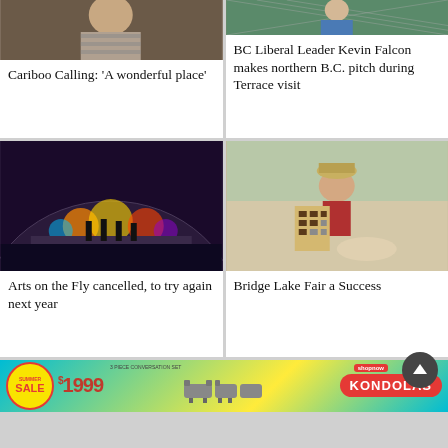[Figure (photo): Photo of a person in striped clothing - Cariboo Calling article]
Cariboo Calling: 'A wonderful place'
[Figure (photo): Photo of BC Liberal Leader Kevin Falcon outdoors]
BC Liberal Leader Kevin Falcon makes northern B.C. pitch during Terrace visit
[Figure (photo): Photo of a concert inside a dome venue - Arts on the Fly]
Arts on the Fly cancelled, to try again next year
[Figure (photo): Photo of a woman at the Bridge Lake Fair holding a display board]
Bridge Lake Fair a Success
[Figure (other): Advertisement: Kondolas Summer Sale - 3-piece conversation set $1999]